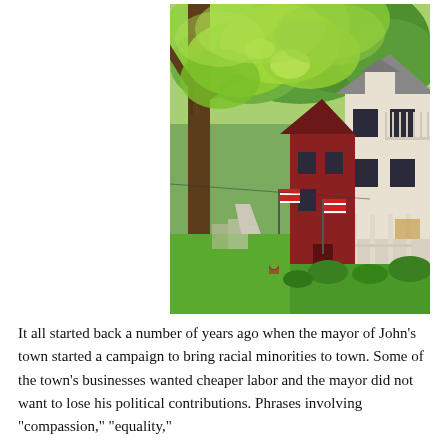[Figure (photo): A sunny suburban street scene with large tree in foreground on left, a sidewalk leading into the distance, green lawns, and traditional American houses with porches on the right side displaying American flags]
It all started back a number of years ago when the mayor of John's town started a campaign to bring racial minorities to town. Some of the town's businesses wanted cheaper labor and the mayor did not want to lose his political contributions. Phrases involving "compassion," "equality,"